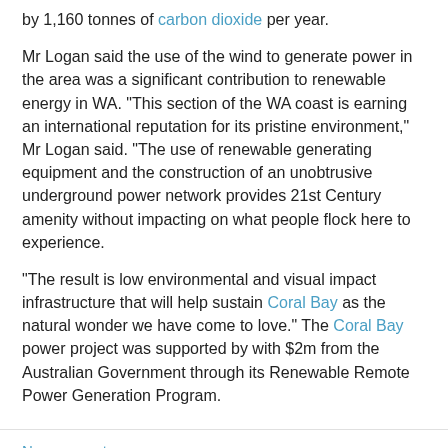by 1,160 tonnes of carbon dioxide per year.

Mr Logan said the use of the wind to generate power in the area was a significant contribution to renewable energy in WA. "This section of the WA coast is earning an international reputation for its pristine environment," Mr Logan said. "The use of renewable generating equipment and the construction of an unobtrusive underground power network provides 21st Century amenity without impacting on what people flock here to experience.

"The result is low environmental and visual impact infrastructure that will help sustain Coral Bay as the natural wonder we have come to love." The Coral Bay power project was supported by with $2m from the Australian Government through its Renewable Remote Power Generation Program.
No comments:
Share